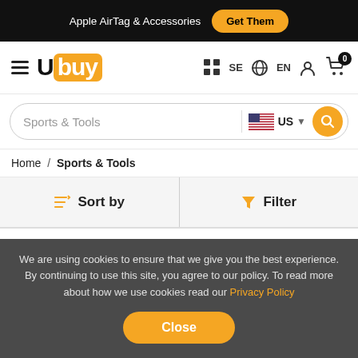Apple AirTag & Accessories Get Them
[Figure (logo): Ubuy logo with hamburger menu]
Sports & Tools US
Home / Sports & Tools
Sort by   Filter
Shop Category
We are using cookies to ensure that we give you the best experience. By continuing to use this site, you agree to our policy. To read more about how we use cookies read our Privacy Policy